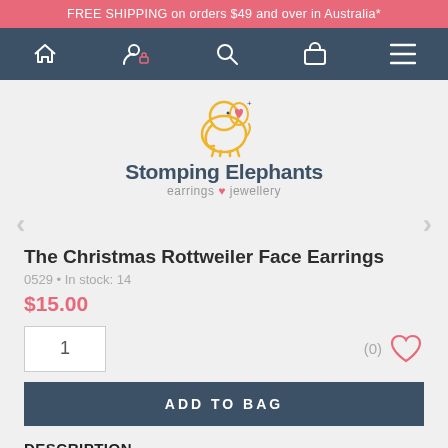FREE SHIPPING on orders $49 and over in Australia*
[Figure (logo): Stomping Elephants logo — cartoon elephant outline with pink heart on side, text 'Stomping Elephants' and 'earrings ♥ jewellery']
The Christmas Rottweiler Face Earrings
0529 • In stock: 14
$15.00
1
(0)
ADD TO BAG
DESCRIPTION
Show your loyal Rottweiler the love this Christmas.